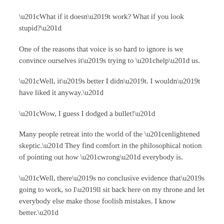“What if it doesn’t work? What if you look stupid?”
One of the reasons that voice is so hard to ignore is we convince ourselves it’s trying to “help” us.
“Well, it’s better I didn’t. I wouldn’t have liked it anyway.”
“Wow, I guess I dodged a bullet!”
Many people retreat into the world of the “enlightened skeptic.” They find comfort in the philosophical notion of pointing out how “wrong” everybody is.
“Well, there’s no conclusive evidence that’s going to work, so I’ll sit back here on my throne and let everybody else make those foolish mistakes. I know better.”